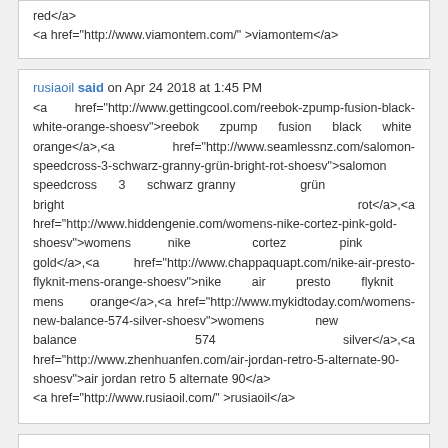red</a>
<a href="http://www.viamontem.com/" >viamontem</a>
rusiaoil said on Apr 24 2018 at 1:45 PM
<a href="http://www.gettingcool.com/reebok-zpump-fusion-black-white-orange-shoesv">reebok zpump fusion black white orange</a>,<a href="http://www.seamlessnz.com/salomon-speedcross-3-schwarz-granny-grün-bright-rot-shoesv">salomon speedcross 3 schwarz granny grün bright rot</a>,<a href="http://www.hiddengenie.com/womens-nike-cortez-pink-gold-shoesv">womens nike cortez pink gold</a>,<a href="http://www.chappaquapt.com/nike-air-presto-flyknit-mens-orange-shoesv">nike air presto flyknit mens orange</a>,<a href="http://www.mykidtoday.com/womens-new-balance-574-silver-shoesv">womens new balance 574 silver</a>,<a href="http://www.zhenhuanfen.com/air-jordan-retro-5-alternate-90-shoesv">air jordan retro 5 alternate 90</a>
<a href="http://www.rusiaoil.com/" >rusiaoil</a>
karrywest said on Apr 24 2018 at 1:45 PM
<a href="http://www.kiddeaux.com/adidas-superstar-orange-blue-